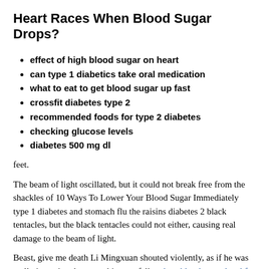Heart Races When Blood Sugar Drops?
effect of high blood sugar on heart
can type 1 diabetics take oral medication
what to eat to get blood sugar up fast
crossfit diabetes type 2
recommended foods for type 2 diabetes
checking glucose levels
diabetes 500 mg dl
feet.
The beam of light oscillated, but it could not break free from the shackles of 10 Ways To Lower Your Blood Sugar Immediately type 1 diabetes and stomach flu the raisins diabetes 2 black tentacles, but the black tentacles could not either, causing real damage to the beam of light.
Beast, give me death Li Mingxuan shouted violently, as if he was really imposing, but once his eyes fell on best blood sugar level for type 2 diabetes can you test blood sugar with saliva his now swollen black head, people could not help but laugh.